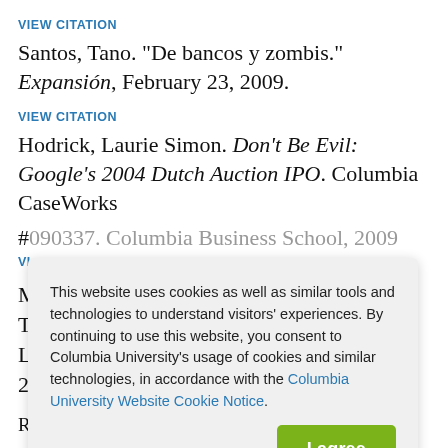VIEW CITATION
Santos, Tano. "De bancos y zombis." Expansión, February 23, 2009.
VIEW CITATION
Hodrick, Laurie Simon. Don't Be Evil: Google's 2004 Dutch Auction IPO. Columbia CaseWorks #090337. Columbia Business School, 2009.
VIEW CITATION
Regulation, and Reform. The Cato Journal 2
This website uses cookies as well as similar tools and technologies to understand visitors' experiences. By continuing to use this website, you consent to Columbia University's usage of cookies and similar technologies, in accordance with the Columbia University Website Cookie Notice.